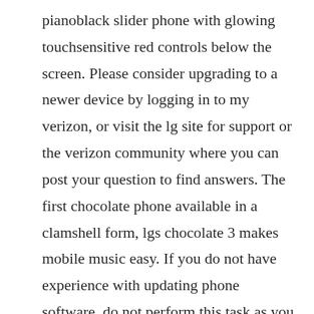pianoblack slider phone with glowing touchsensitive red controls below the screen. Please consider upgrading to a newer device by logging in to my verizon, or visit the lg site for support or the verizon community where you can post your question to find answers. The first chocolate phone available in a clamshell form, lgs chocolate 3 makes mobile music easy. If you do not have experience with updating phone software, do not perform this task as you could void the warranty on your phone and render it useless. The lg